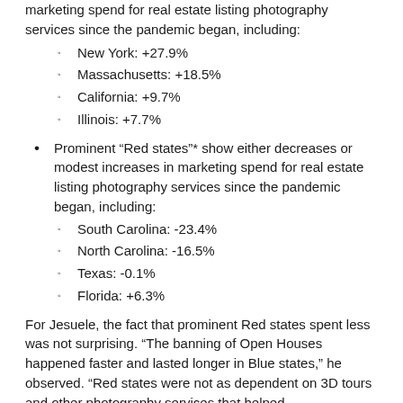marketing spend for real estate listing photography services since the pandemic began, including:
New York: +27.9%
Massachusetts:  +18.5%
California: +9.7%
Illinois: +7.7%
Prominent “Red states”* show either decreases or modest increases in marketing spend for real estate listing photography services since the pandemic began, including:
South Carolina: -23.4%
North Carolina: -16.5%
Texas: -0.1%
Florida: +6.3%
For Jesuele, the fact that prominent Red states spent less was not surprising. “The banning of Open Houses happened faster and lasted longer in Blue states,” he observed. “Red states were not as dependent on 3D tours and other photography services that helped